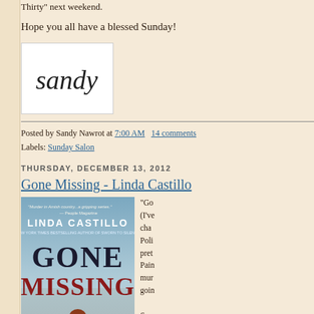Thirty" next weekend.
Hope you all have a blessed Sunday!
[Figure (illustration): Handwritten cursive signature reading 'Sandy' in black ink on white background]
Posted by Sandy Nawrot at 7:00 AM   14 comments
Labels: Sunday Salon
THURSDAY, DECEMBER 13, 2012
Gone Missing - Linda Castillo
[Figure (photo): Book cover of 'Gone Missing' by Linda Castillo showing a woman with red hair from behind against a blue-grey background, with the text 'Murder in Amish country...a gripping series.' — People Magazine and 'New York Times Bestselling Author of Sworn to Silence']
"Gon (I've char Polic prett Pain mur goin Syn last John that